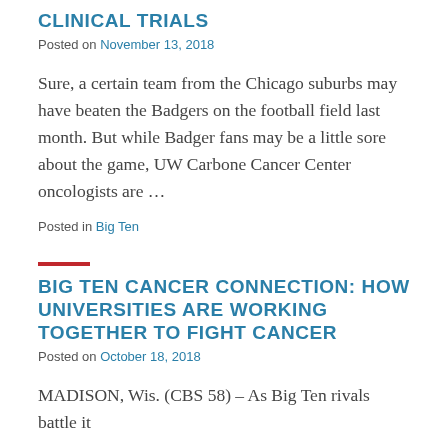CLINICAL TRIALS
Posted on November 13, 2018
Sure, a certain team from the Chicago suburbs may have beaten the Badgers on the football field last month. But while Badger fans may be a little sore about the game, UW Carbone Cancer Center oncologists are …
Posted in Big Ten
BIG TEN CANCER CONNECTION: HOW UNIVERSITIES ARE WORKING TOGETHER TO FIGHT CANCER
Posted on October 18, 2018
MADISON, Wis. (CBS 58) – As Big Ten rivals battle it